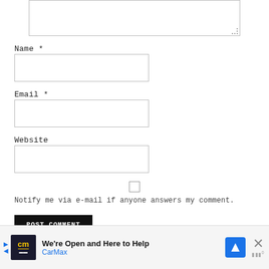[Figure (screenshot): Top portion of a comment form showing a textarea input box with resize handle]
Name *
[Figure (screenshot): Name input field (empty text box)]
Email *
[Figure (screenshot): Email input field (empty text box)]
Website
[Figure (screenshot): Website input field (empty text box)]
[Figure (screenshot): Checkbox (unchecked) for email notification]
Notify me via e-mail if anyone answers my comment.
[Figure (screenshot): POST COMMENT button (black background, white text)]
[Figure (screenshot): CarMax advertisement banner: 'We're Open and Here to Help' with CarMax logo, navigation icon, and close button]